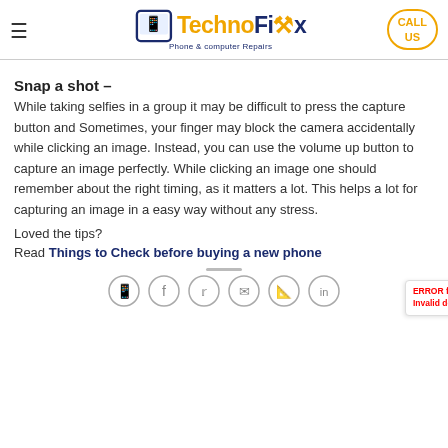TechnoFix Phone & computer Repairs | CALL US
Snap a shot –
While taking selfies in a group it may be difficult to press the capture button and Sometimes, your finger may block the camera accidentally while clicking an image. Instead, you can use the volume up button to capture an image perfectly. While clicking an image one should remember about the right timing, as it matters a lot. This helps a lot for capturing an image in a easy way without any stress.
Loved the tips?
Read Things to Check before buying a new phone